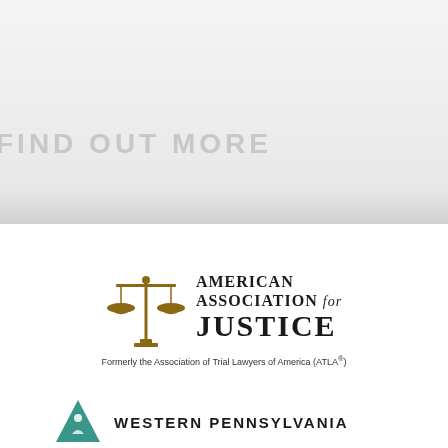FIND OUT MORE
[Figure (logo): American Association for Justice logo with scales of justice icon. Text reads: AMERICAN ASSOCIATION for JUSTICE. Formerly the Association of Trial Lawyers of America (ATLA®)]
[Figure (logo): Western Pennsylvania logo with teal/green triangle icon showing a figure, text reads: WESTERN PENNSYLVANIA]